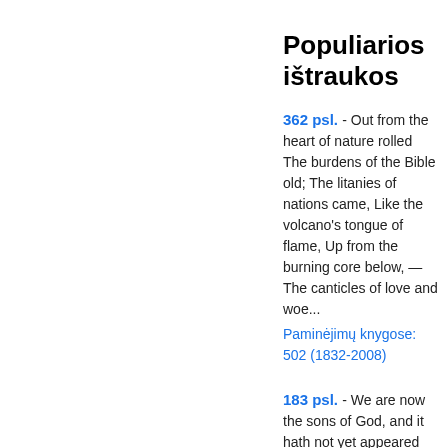Populiarios ištraukos
362 psl. - Out from the heart of nature rolled The burdens of the Bible old; The litanies of nations came, Like the volcano's tongue of flame, Up from the burning core below, — The canticles of love and woe...
Paminėjimų knygose: 502 (1832-2008)
183 psl. - We are now the sons of God, and it hath not yet appeared what we shall be. We know that when he shall appear we shall be like him, because we shall